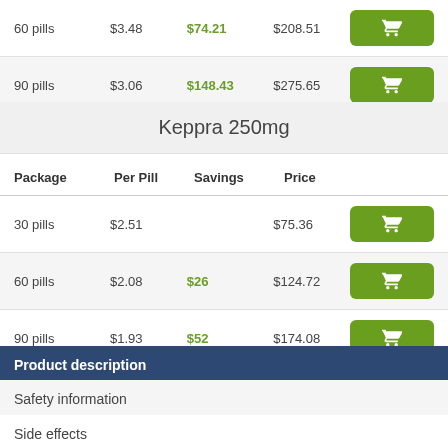| Package | Per Pill | Savings | Price |  |
| --- | --- | --- | --- | --- |
| 60 pills | $3.48 | $74.21 | $208.51 | cart |
| 90 pills | $3.06 | $148.43 | $275.65 | cart |
Keppra 250mg
| Package | Per Pill | Savings | Price |  |
| --- | --- | --- | --- | --- |
| 30 pills | $2.51 |  | $75.36 | cart |
| 60 pills | $2.08 | $26 | $124.72 | cart |
| 90 pills | $1.93 | $52 | $174.08 | cart |
Product description
Safety information
Side effects